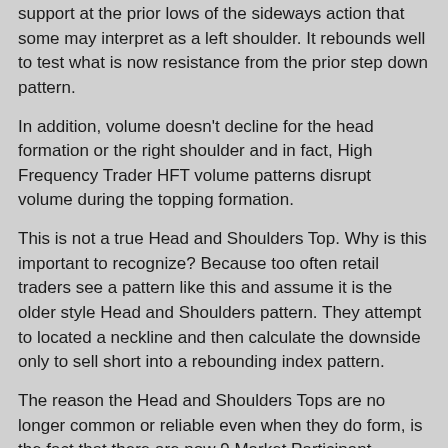support at the prior lows of the sideways action that some may interpret as a left shoulder. It rebounds well to test what is now resistance from the prior step down pattern.
In addition, volume doesn't decline for the head formation or the right shoulder and in fact, High Frequency Trader HFT volume patterns disrupt volume during the topping formation.
This is not a true Head and Shoulders Top. Why is this important to recognize? Because too often retail traders see a pattern like this and assume it is the older style Head and Shoulders pattern. They attempt to located a neckline and then calculate the downside only to sell short into a rebounding index pattern.
The reason the Head and Shoulders Tops are no longer common or reliable even when they do form, is the fact that there are now 9 Market Participant Groups active in the stock market. At the time the original Head and Shoulders Top was identified, documented, and then written about in numerous technical analysis books there were only 3 Market Participant Groups.